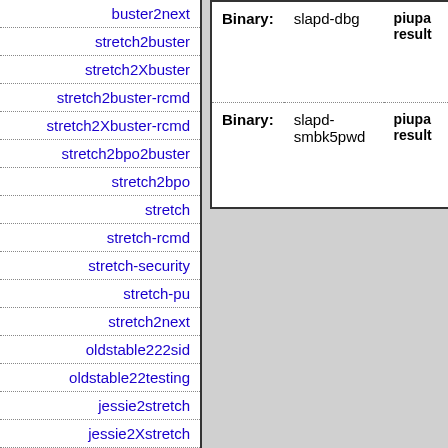| Links |
| --- |
| buster2next |
| stretch2buster |
| stretch2Xbuster |
| stretch2buster-rcmd |
| stretch2Xbuster-rcmd |
| stretch2bpo2buster |
| stretch2bpo |
| stretch |
| stretch-rcmd |
| stretch-security |
| stretch-pu |
| stretch2next |
| oldstable222sid |
| oldstable22testing |
| jessie2stretch |
| jessie2Xstretch |
| jessie2stretch-rcmd |
| jessie2Xstretch-rcmd |
| Type | Package | Info |
| --- | --- | --- |
| Binary: | slapd-dbg | piupa result |
| Binary: | slapd-smbk5pwd | piupa result |